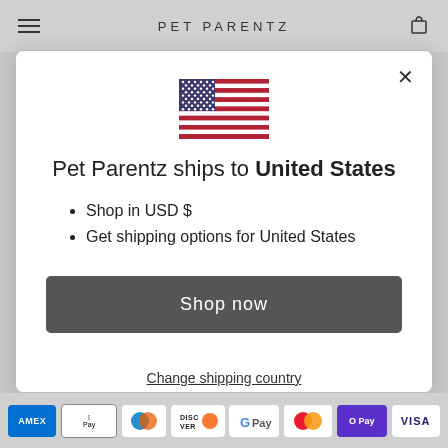PET PARENTZ
[Figure (illustration): US flag emoji/icon centered in modal]
Pet Parentz ships to United States
Shop in USD $
Get shipping options for United States
Shop now
Change shipping country
AMEX  Apple Pay  Diners  DISCOVER  G Pay  Mastercard  O Pay  VISA